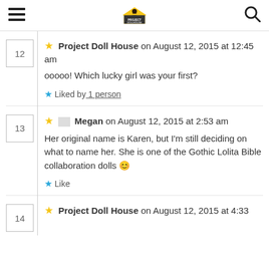Project Dollhouse website header with hamburger menu, logo, and search icon
12 ★ Project Doll House on August 12, 2015 at 12:45 am
ooooo! Which lucky girl was your first?
★ Liked by 1 person
13 ★ 🖼 Megan on August 12, 2015 at 2:53 am
Her original name is Karen, but I'm still deciding on what to name her. She is one of the Gothic Lolita Bible collaboration dolls 😊
★ Like
14 ★ Project Doll House on August 12, 2015 at 4:33